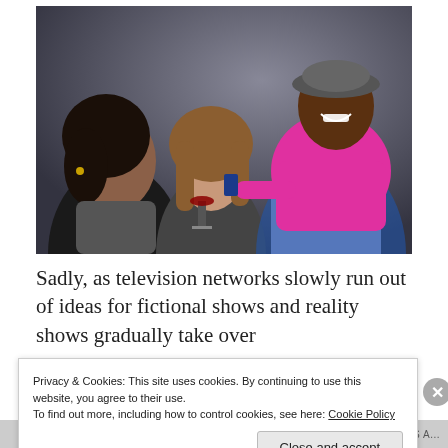[Figure (photo): A man in a bright pink shirt and flat cap leaning toward two women at a party, one holding a glass of red wine, dark moody background]
Sadly, as television networks slowly run out of ideas for fictional shows and reality shows gradually take over
Privacy & Cookies: This site uses cookies. By continuing to use this website, you agree to their use.
To find out more, including how to control cookies, see here: Cookie Policy